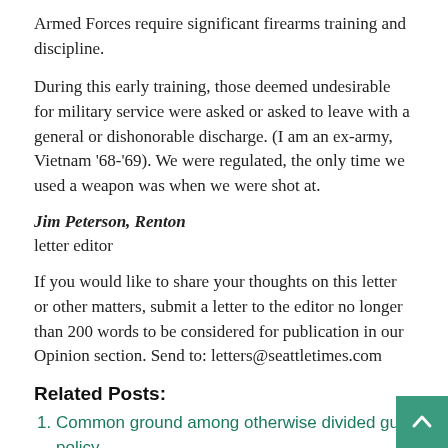Armed Forces require significant firearms training and discipline.
During this early training, those deemed undesirable for military service were asked or asked to leave with a general or dishonorable discharge. (I am an ex-army, Vietnam '68-'69). We were regulated, the only time we used a weapon was when we were shot at.
Jim Peterson, Renton
letter editor
If you would like to share your thoughts on this letter or other matters, submit a letter to the editor no longer than 200 words to be considered for publication in our Opinion section. Send to: letters@seattletimes.com
Related Posts:
Common ground among otherwise divided gun policy